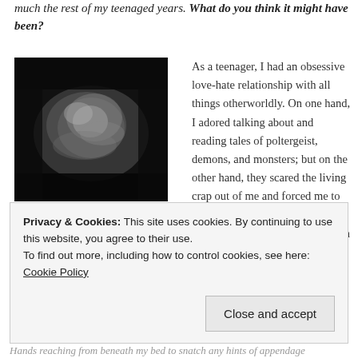much the rest of my teenaged years. What do you think it might have been?
[Figure (photo): A blurry dark photograph showing a wispy mist or smoke-like formation against a dark background.]
This mist is very similar to what I saw! What could it be?
As a teenager, I had an obsessive love-hate relationship with all things otherworldly. On one hand, I adored talking about and reading tales of poltergeist, demons, and monsters; but on the other hand, they scared the living crap out of me and forced me to sleep with the lights on whilst I pathetically begged my mother, in much the style of a three year-old, to sleep with me.
Privacy & Cookies: This site uses cookies. By continuing to use this website, you agree to their use.
To find out more, including how to control cookies, see here: Cookie Policy
Close and accept
Hands reaching from beneath my bed to snatch any hints of appendage